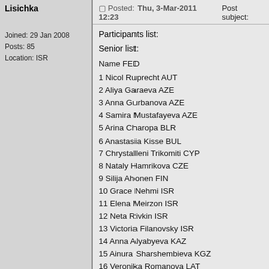Lisichka
Joined: 29 Jan 2008
Posts: 85
Location: ISR
Posted: Thu, 3-Mar-2011 12:23   Post subject:
Participants list:
Senior list:
Name FED
1 Nicol Ruprecht AUT
2 Aliya Garaeva AZE
3 Anna Gurbanova AZE
4 Samira Mustafayeva AZE
5 Arina Charopa BLR
6 Anastasia Kisse BUL
7 Chrystalleni Trikomiti CYP
8 Nataly Hamrikova CZE
9 Silija Ahonen FIN
10 Grace Nehmi ISR
11 Elena Meirzon ISR
12 Neta Rivkin ISR
13 Victoria Filanovsky ISR
14 Anna Alyabyeva KAZ
15 Ainura Sharshembieva KGZ
16 Veronika Romanova LAT
17 Modesta Kudzmanaite LTU
18 Joanna Mitrosz POL